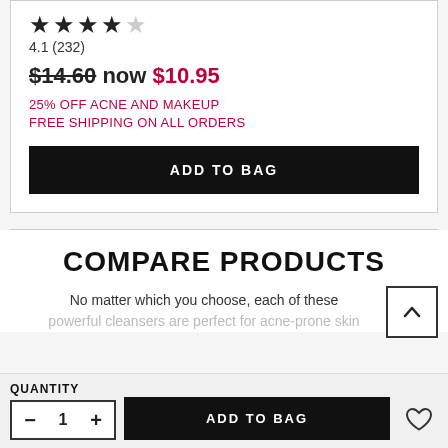[Figure (other): Star rating showing 4.1 out of 5 stars (4 filled, 1 empty)]
4.1 (232)
$14.60 now $10.95
25% OFF ACNE AND MAKEUP
FREE SHIPPING ON ALL ORDERS
ADD TO BAG
COMPARE PRODUCTS
No matter which you choose, each of these powerful cleansers are perfect for acne-prone skin
QUANTITY
ADD TO BAG